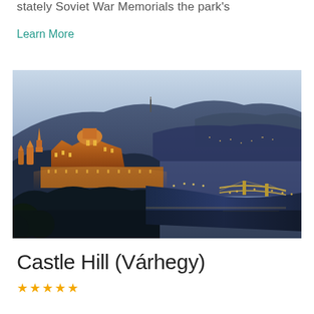stately Soviet War Memorials the park's
Learn More
[Figure (photo): Aerial dusk/night panoramic photo of Budapest showing the illuminated Buda Castle and Matthias Church on the left, the Danube River with the Chain Bridge on the right, and rolling hills in the background under a twilight sky.]
Castle Hill (Várhegy)